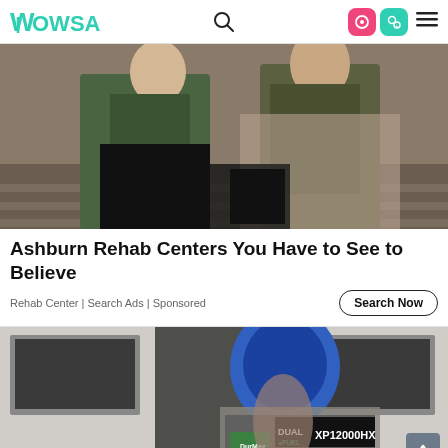Wowsa navigation header with logo, search icon, pink and teal icon buttons, and hamburger menu
[Figure (photo): Two young women sitting on concrete steps outdoors at night, one in a green jacket and black pants, the other in a camouflage jacket and leopard print pants with a black bag]
Ashburn Rehab Centers You Have to See to Believe
Rehab Center | Search Ads | Sponsored
[Figure (photo): Person wearing a blue beanie and grey fur-trimmed jacket operating a dual fuel XP12000HX generator against a white brick wall background]